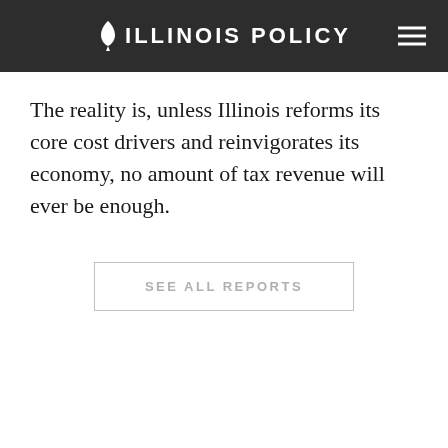ILLINOIS POLICY
The reality is, unless Illinois reforms its core cost drivers and reinvigorates its economy, no amount of tax revenue will ever be enough.
SEE ALL REPORTS